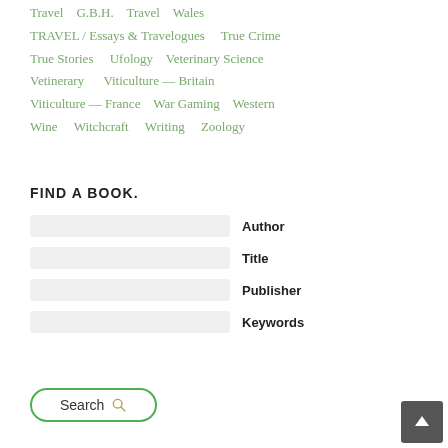Travel   G.B.H.   Travel   Wales   TRAVEL / Essays & Travelogues   True Crime   True Stories   Ufology   Veterinary Science   Vetinerary   Viticulture — Britain   Viticulture — France   War Gaming   Western   Wine   Witchcraft   Writing   Zoology
FIND A BOOK.
Author
Title
Publisher
Keywords
Search